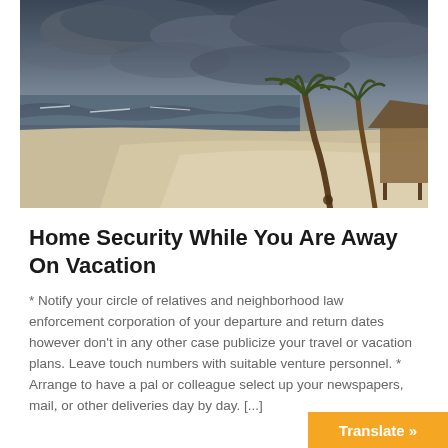[Figure (photo): Beach scene with stormy cloudy sky, ocean waves on the left, sandy shore in the center, and palm trees with a thatched hut structure on the right]
Home Security While You Are Away On Vacation
* Notify your circle of relatives and neighborhood law enforcement corporation of your departure and return dates however don't in any other case publicize your travel or vacation plans. Leave touch numbers with suitable venture personnel. * Arrange to have a pal or colleague select up your newspapers, mail, or other deliveries day by day. [...]